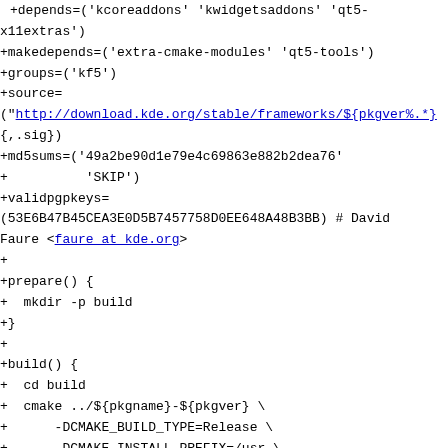+depends=('kcoreaddons' 'kwidgetsaddons' 'qt5-x11extras')
+makedepends=('extra-cmake-modules' 'qt5-tools')
+groups=('kf5')
+source=
("http://download.kde.org/stable/frameworks/${pkgver%.*},
{,.sig})
+md5sums=('49a2be90d1e79e4c69863e882b2dea76'
+          'SKIP')
+validpgpkeys=
(53E6B47B45CEA3E0D5B7457758D0EE648A48B3BB) # David Faure <faure at kde.org>
+
+prepare() {
+  mkdir -p build
+}
+
+build() {
+  cd build
+  cmake ../${pkgname}-${pkgver} \
+      -DCMAKE_BUILD_TYPE=Release \
+      -DCMAKE_INSTALL_PREFIX=/usr \
+      -DKDE_INSTALL_LIBDIR=lib \
+      -DBUILD_TESTING=OFF
+  make
+}
+
+package() {
+  cd build
+  make DESTDIR="${pkgdir}" install